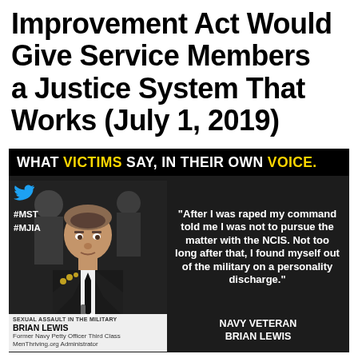Improvement Act Would Give Service Members a Justice System That Works (July 1, 2019)
[Figure (infographic): Dark-background infographic with headline 'WHAT VICTIMS SAY, IN THEIR OWN VOICE.' in white and yellow text. Left side shows a photo of Brian Lewis (Former Navy Petty Officer Third Class, MenThriving.org Administrator) in military uniform at a hearing, with Twitter bird icon and hashtags #MST #MJIA. Right side shows a quote: 'After I was raped my command told me I was not to pursue the matter with the NCIS. Not too long after that, I found myself out of the military on a personality discharge.' attributed to NAVY VETERAN BRIAN LEWIS.]